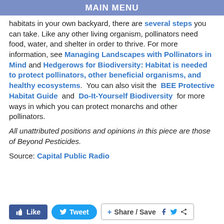MAIN MENU
habitats in your own backyard, there are several steps you can take. Like any other living organism, pollinators need food, water, and shelter in order to thrive. For more information, see Managing Landscapes with Pollinators in Mind and Hedgerows for Biodiversity: Habitat is needed to protect pollinators, other beneficial organisms, and healthy ecosystems. You can also visit the BEE Protective Habitat Guide and Do-It-Yourself Biodiversity for more ways in which you can protect monarchs and other pollinators.
All unattributed positions and opinions in this piece are those of Beyond Pesticides.
Source: Capital Public Radio